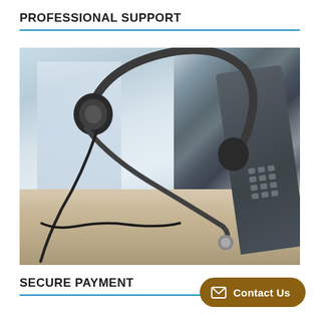PROFESSIONAL SUPPORT
[Figure (photo): A professional headset resting on a desk next to an office telephone/IP phone handset, with a blurred monitor and window in the background. Call center / customer support setting.]
SECURE PAYMENT
Contact Us